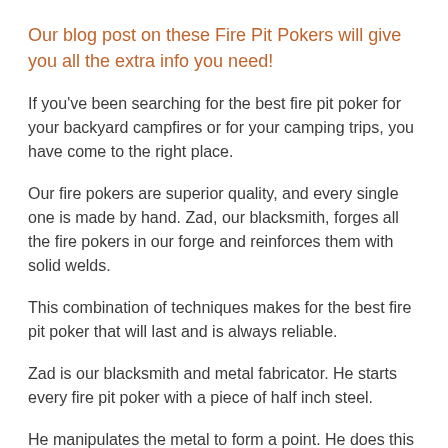Our blog post on these Fire Pit Pokers will give you all the extra info you need!
If you've been searching for the best fire pit poker for your backyard campfires or for your camping trips, you have come to the right place.
Our fire pokers are superior quality, and every single one is made by hand. Zad, our blacksmith, forges all the fire pokers in our forge and reinforces them with solid welds.
This combination of techniques makes for the best fire pit poker that will last and is always reliable.
Zad is our blacksmith and metal fabricator. He starts every fire pit poker with a piece of half inch steel.
He manipulates the metal to form a point. He does this in